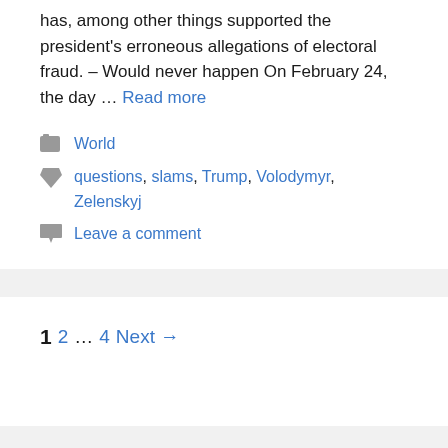has, among other things supported the president's erroneous allegations of electoral fraud. – Would never happen On February 24, the day … Read more
World
questions, slams, Trump, Volodymyr, Zelenskyj
Leave a comment
1 2 … 4 Next →